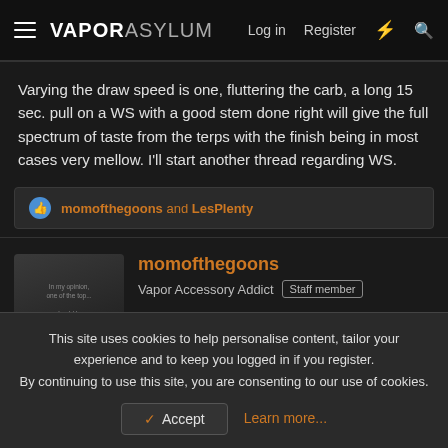VAPOR ASYLUM — Log in  Register
Varying the draw speed is one, fluttering the carb, a long 15 sec. pull on a WS with a good stem done right will give the full spectrum of taste from the terps with the finish being in most cases very mellow. I'll start another thread regarding WS.
momofthegoons and LesPlenty
momofthegoons
Vapor Accessory Addict  Staff member
Dec 17, 2020  #9
Jeff said:
My next purchase will not be a new desktop but a WRS for WS a...
This site uses cookies to help personalise content, tailor your experience and to keep you logged in if you register.
By continuing to use this site, you are consenting to our use of cookies.
Accept  Learn more...